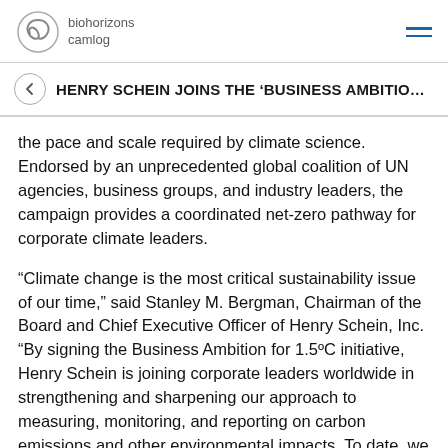biohorizons camlog
HENRY SCHEIN JOINS THE 'BUSINESS AMBITIO...
the pace and scale required by climate science. Endorsed by an unprecedented global coalition of UN agencies, business groups, and industry leaders, the campaign provides a coordinated net-zero pathway for corporate climate leaders.
“Climate change is the most critical sustainability issue of our time,” said Stanley M. Bergman, Chairman of the Board and Chief Executive Officer of Henry Schein, Inc. “By signing the Business Ambition for 1.5ºC initiative, Henry Schein is joining corporate leaders worldwide in strengthening and sharpening our approach to measuring, monitoring, and reporting on carbon emissions and other environmental impacts. To date, we are focusing on baselining our distribution and